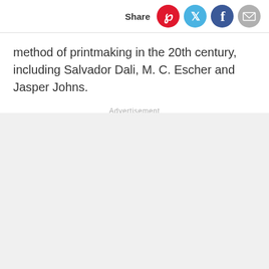Share
method of printmaking in the 20th century, including Salvador Dali, M. C. Escher and Jasper Johns.
Advertisement